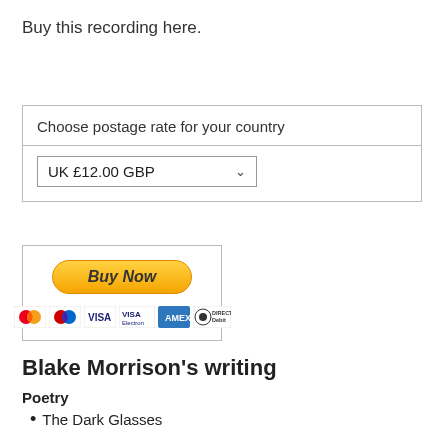Buy this recording here.
Choose postage rate for your country
UK £12.00 GBP
[Figure (other): PayPal Buy Now button with credit card logos: Mastercard, Maestro, VISA, VISA Electron, American Express, Direct Debit]
Blake Morrison's writing
Poetry
The Dark Glasses